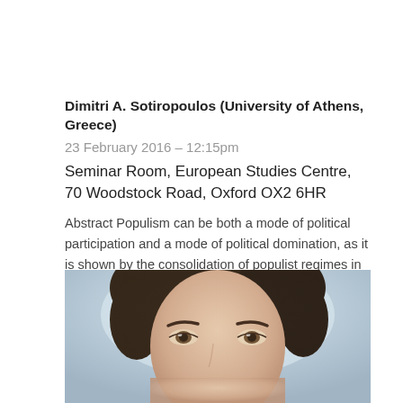Dimitri A. Sotiropoulos (University of Athens, Greece)
23 February 2016 – 12:15pm
Seminar Room, European Studies Centre, 70 Woodstock Road, Oxford OX2 6HR
Abstract Populism can be both a mode of political participation and a mode of political domination, as it is shown by the consolidation of populist regimes in Serbia and FYR Macedonia. The linguistic… Read more
[Figure (photo): Close-up photo of a woman's face with dark curly hair, cropped to show eyes and upper face against a light background]